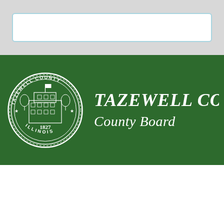[Figure (screenshot): Search bar input field with light blue border on grey background]
[Figure (logo): Tazewell County government banner with dark green background, circular county seal (white) showing courthouse building, stars, text TAZEWELL COUNTY ILLINOIS 1827, and white italic bold text reading TAZEWELL CO County Board]